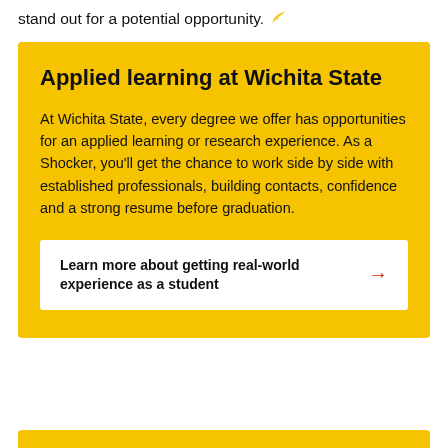stand out for a potential opportunity.
Applied learning at Wichita State
At Wichita State, every degree we offer has opportunities for an applied learning or research experience. As a Shocker, you'll get the chance to work side by side with established professionals, building contacts, confidence and a strong resume before graduation.
Learn more about getting real-world experience as a student